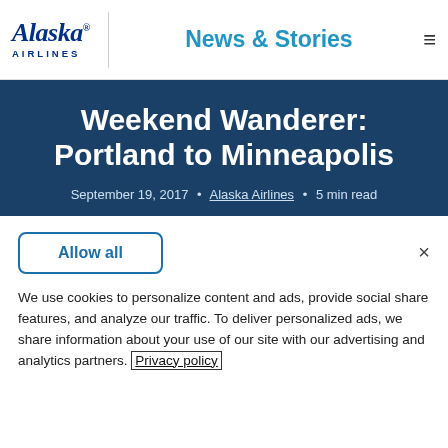Alaska Airlines | News & Stories
Weekend Wanderer: Portland to Minneapolis
September 19, 2017 • Alaska Airlines • 5 min read
Allow all
We use cookies to personalize content and ads, provide social share features, and analyze our traffic. To deliver personalized ads, we share information about your use of our site with our advertising and analytics partners. Privacy policy